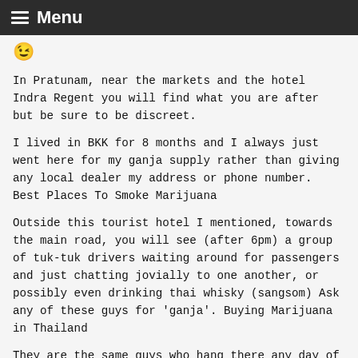Menu
😉
In Pratunam, near the markets and the hotel Indra Regent you will find what you are after but be sure to be discreet.
I lived in BKK for 8 months and I always just went here for my ganja supply rather than giving any local dealer my address or phone number. Best Places To Smoke Marijuana
Outside this tourist hotel I mentioned, towards the main road, you will see (after 6pm) a group of tuk-tuk drivers waiting around for passengers and just chatting jovially to one another, or possibly even drinking thai whisky (sangsom) Ask any of these guys for 'ganja'. Buying Marijuana in Thailand
They are the same guys who hang there any day of the week so you ain't getting ripped off here. Looking to order weed in Bangkok